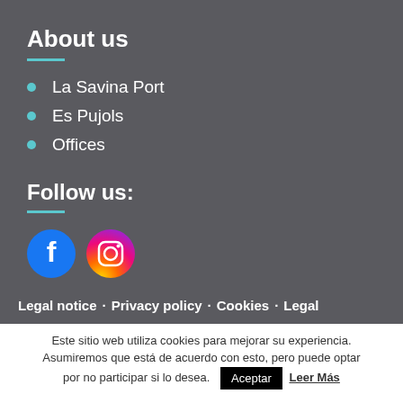About us
La Savina Port
Es Pujols
Offices
Follow us:
[Figure (logo): Facebook and Instagram social media icons]
Legal notice · Privacy policy · Cookies · Legal
Este sitio web utiliza cookies para mejorar su experiencia. Asumiremos que está de acuerdo con esto, pero puede optar por no participar si lo desea.
Aceptar  Leer Más